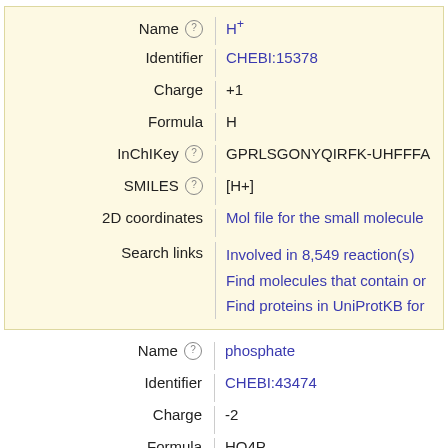| Property | Value |
| --- | --- |
| Name | H+ |
| Identifier | CHEBI:15378 |
| Charge | +1 |
| Formula | H |
| InChIKey | GPRLSGONYQIRFK-UHFFFA... |
| SMILES | [H+] |
| 2D coordinates | Mol file for the small molecule |
| Search links | Involved in 8,549 reaction(s)
Find molecules that contain or...
Find proteins in UniProtKB for... |
| Property | Value |
| --- | --- |
| Name | phosphate |
| Identifier | CHEBI:43474 |
| Charge | -2 |
| Formula | HO4P |
| InChIKey | NBIIXXVUZAFLBC-UFFFFAC... |